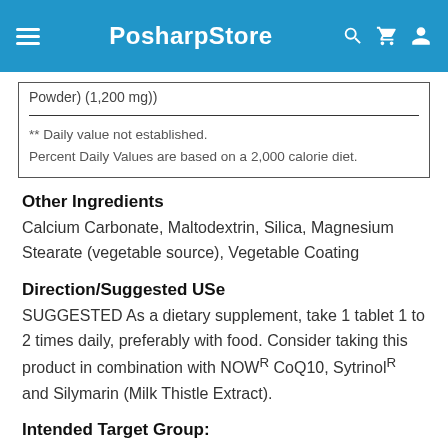PosharpStore
| Powder) (1,200 mg)) |
| ** Daily value not established. |
| Percent Daily Values are based on a 2,000 calorie diet. |
Other Ingredients
Calcium Carbonate, Maltodextrin, Silica, Magnesium Stearate (vegetable source), Vegetable Coating
Direction/Suggested USe
SUGGESTED As a dietary supplement, take 1 tablet 1 to 2 times daily, preferably with food. Consider taking this product in combination with NOWR CoQ10, SytrinolR and Silymarin (Milk Thistle Extract).
Intended Target Group:
Adults and Children 4 or More Years of Age